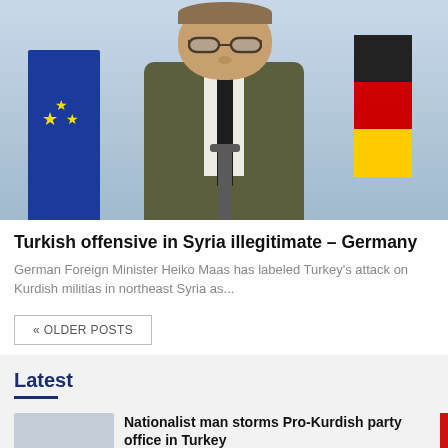[Figure (photo): A man in an olive/khaki suit with dark tie standing at a podium with microphone, flanked by an EU flag on the left and a German flag on the right, against a light blue background.]
Turkish offensive in Syria illegitimate – Germany
German Foreign Minister Heiko Maas has labeled Turkey's attack on Kurdish militias in northeast Syria as...
« OLDER POSTS
Latest
Nationalist man storms Pro-Kurdish party office in Turkey